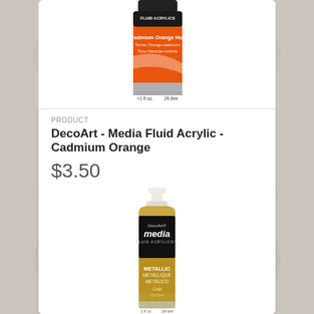[Figure (photo): Photo of DecoArt Media Fluid Acrylic paint bottle in Cadmium Orange Hue, showing orange label with multilingual text and 1 fl oz / 29.6ml size, partially cropped at top]
PRODUCT
DecoArt - Media Fluid Acrylic - Cadmium Orange
$3.50
[Figure (photo): Photo of DecoArt Media Fluid Acrylics bottle labeled Metallic Gold (Or/Oro), with white cap, black label displaying brand name and metallic gold color section, 1 fl oz / 29.6ml size]